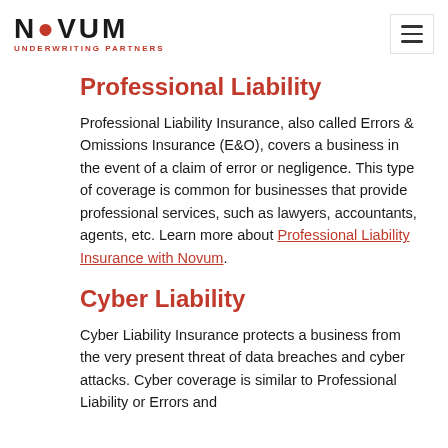NOVUM UNDERWRITING PARTNERS
Professional Liability
Professional Liability Insurance, also called Errors & Omissions Insurance (E&O), covers a business in the event of a claim of error or negligence. This type of coverage is common for businesses that provide professional services, such as lawyers, accountants, agents, etc. Learn more about Professional Liability Insurance with Novum.
Cyber Liability
Cyber Liability Insurance protects a business from the very present threat of data breaches and cyber attacks. Cyber coverage is similar to Professional Liability or Errors and